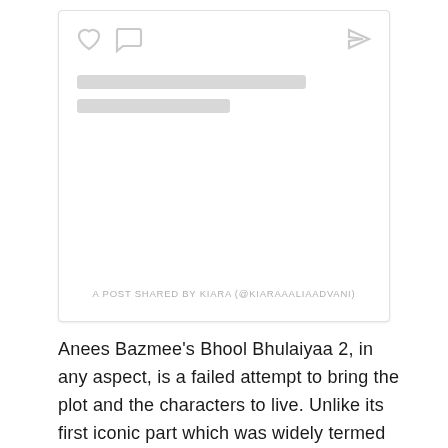[Figure (screenshot): Social media post card with heart icon, speech bubble icon, send icon on top-left and a share icon on top-right. Below are two placeholder grey bars representing text lines. At the bottom center is the caption text 'A POST SHARED BY KIARA (@KIARAAALIAADVANI)']
A POST SHARED BY KIARA (@KIARAAALIAADVANI)
Anees Bazmee's Bhool Bhulaiyaa 2, in any aspect, is a failed attempt to bring the plot and the characters to live. Unlike its first iconic part which was widely termed as a flawless 2007 masterpiece, this part does not even come close to it.
But what's missing in this movie? Nearly everything.
The plot is overrated and overly performed, failing to identify the difference between the screens of horror and